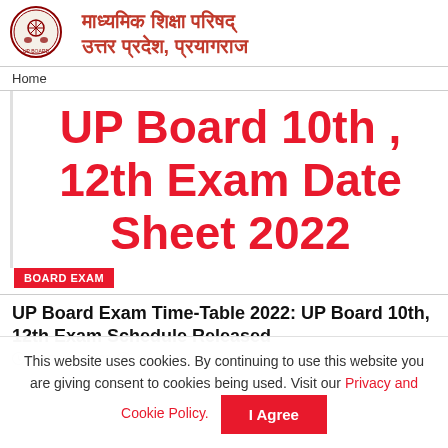[Figure (logo): UP Board circular logo/seal with emblem]
माध्यमिक शिक्षा परिषद् उत्तर प्रदेश, प्रयागराज
Home
UP Board 10th , 12th Exam Date Sheet 2022
BOARD EXAM
UP Board Exam Time-Table 2022: UP Board 10th, 12th Exam Schedule Released
MARCH 8, 2022   43
This website uses cookies. By continuing to use this website you are giving consent to cookies being used. Visit our Privacy and Cookie Policy.